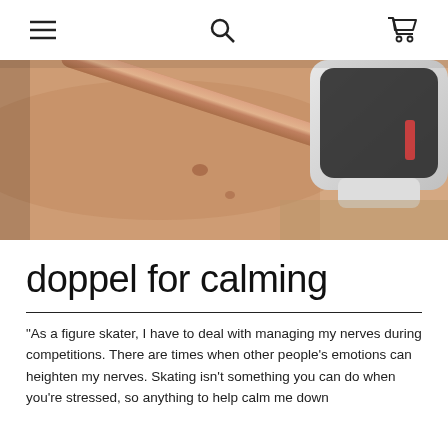[hamburger menu] [search] [cart]
[Figure (photo): Close-up photo of a wrist wearing a rose gold bracelet/band, with a white smartwatch visible in the upper right corner on a wooden surface.]
doppel for calming
"As a figure skater, I have to deal with managing my nerves during competitions. There are times when other people's emotions can heighten my nerves. Skating isn't something you can do when you're stressed, so anything to help calm me down